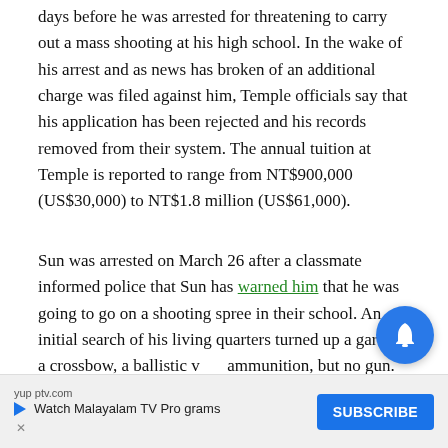days before he was arrested for threatening to carry out a mass shooting at his high school. In the wake of his arrest and as news has broken of an additional charge was filed against him, Temple officials say that his application has been rejected and his records removed from their system. The annual tuition at Temple is reported to range from NT$900,000 (US$30,000) to NT$1.8 million (US$61,000).
Sun was arrested on March 26 after a classmate informed police that Sun has warned him that he was going to go on a shooting spree in their school. An initial search of his living quarters turned up a garrote, a crossbow, a ballistic vest, ammunition, but no gun. Police said he had been searching online for information on how to buy an AR-15 assault rifle or an AR-
[Figure (other): Advertisement banner: yupptv.com 'Watch Malayalam TV Programs' with a Subscribe button and blue play icon]